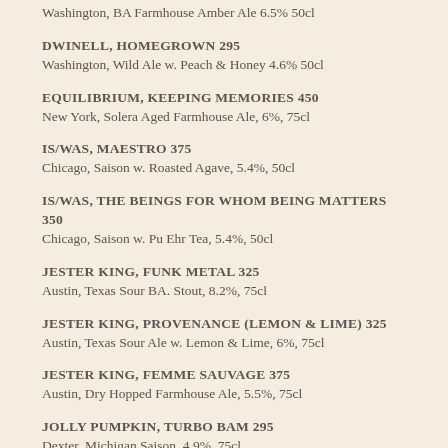Washington, BA Farmhouse Amber Ale 6.5% 50cl
DWINELL, HOMEGROWN 295
Washington, Wild Ale w. Peach & Honey 4.6% 50cl
EQUILIBRIUM, KEEPING MEMORIES 450
New York, Solera Aged Farmhouse Ale, 6%, 75cl
IS/WAS, MAESTRO 375
Chicago, Saison w. Roasted Agave, 5.4%, 50cl
IS/WAS, THE BEINGS FOR WHOM BEING MATTERS 350
Chicago, Saison w. Pu Ehr Tea, 5.4%, 50cl
JESTER KING, FUNK METAL 325
Austin, Texas Sour BA. Stout, 8.2%, 75cl
JESTER KING, PROVENANCE (LEMON & LIME) 325
Austin, Texas Sour Ale w. Lemon & Lime, 6%, 75cl
JESTER KING, FEMME SAUVAGE 375
Austin, Dry Hopped Farmhouse Ale, 5.5%, 75cl
JOLLY PUMPKIN, TURBO BAM 295
Dexter, Michigan Saison, 4.9%, 75cl